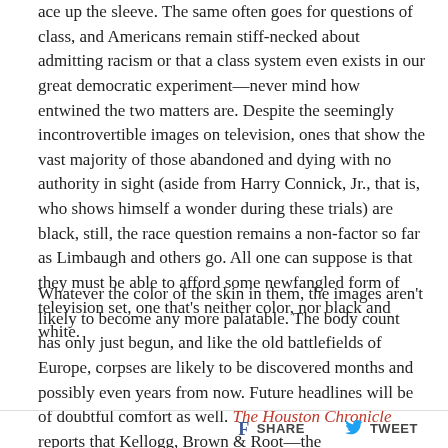ace up the sleeve. The same often goes for questions of class, and Americans remain stiff-necked about admitting racism or that a class system even exists in our great democratic experiment—never mind how entwined the two matters are. Despite the seemingly incontrovertible images on television, ones that show the vast majority of those abandoned and dying with no authority in sight (aside from Harry Connick, Jr., that is, who shows himself a wonder during these trials) are black, still, the race question remains a non-factor so far as Limbaugh and others go. All one can suppose is that they must be able to afford some newfangled form of television set, one that's neither color, nor black and white.
Whatever the color of the skin in them, the images aren't likely to become any more palatable. The body count has only just begun, and like the old battlefields of Europe, corpses are likely to be discovered months and possibly even years from now. Future headlines will be of doubtful comfort as well. The Houston Chronicle reports that Kellogg, Brown & Root—the
SHARE   TWEET